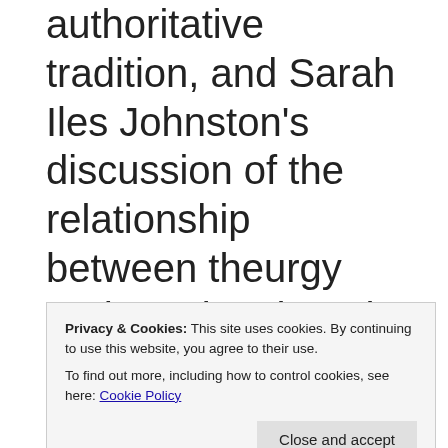authoritative tradition, and Sarah Iles Johnston's discussion of the relationship between theurgy and magic. Though readers may have minor quibbles concerning points by authors, by and large Guide to the Study of Ancient Magic is an excellent volume for a detailed
Privacy & Cookies: This site uses cookies. By continuing to use this website, you agree to their use. To find out more, including how to control cookies, see here: Cookie Policy
possible improvement evident